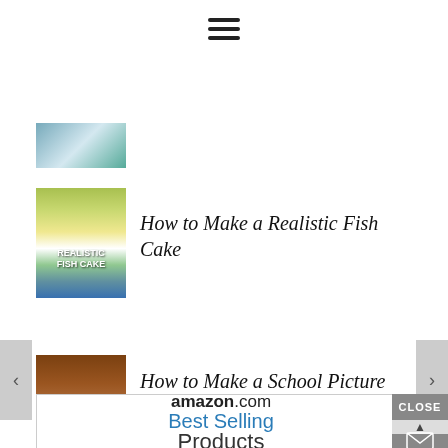[Figure (other): Hamburger menu icon (three horizontal lines)]
[Figure (photo): Partially visible thumbnail image at top, cut off]
[Figure (photo): Thumbnail for Realistic Fish Cake article showing food ingredients and a book cover]
How to Make a Realistic Fish Cake
[Figure (photo): Thumbnail for School Picture Board article showing a brown board]
How to Make a School Picture Board
[Figure (other): amazon.com Best Selling Products advertisement banner]